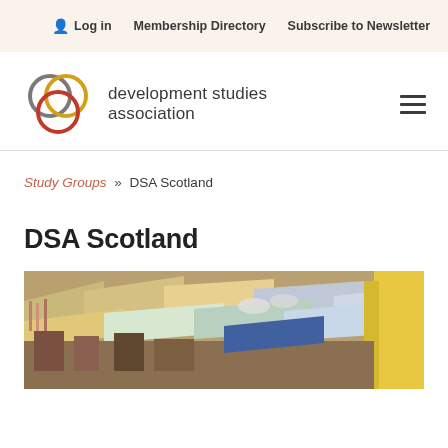Log in   Membership Directory   Subscribe to Newsletter
[Figure (logo): Development Studies Association logo with interlocking circles in grey, yellow, and red, next to text 'development studies association']
Study Groups » DSA Scotland
DSA Scotland
[Figure (photo): Photo of a busy outdoor market with colourful awnings and stalls, yellow building visible on right]